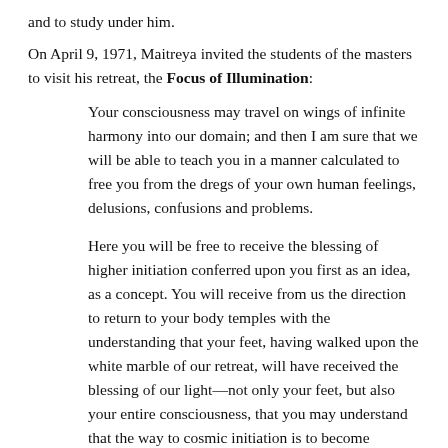and to study under him.
On April 9, 1971, Maitreya invited the students of the masters to visit his retreat, the Focus of Illumination:
Your consciousness may travel on wings of infinite harmony into our domain; and then I am sure that we will be able to teach you in a manner calculated to free you from the dregs of your own human feelings, delusions, confusions and problems.
Here you will be free to receive the blessing of higher initiation conferred upon you first as an idea, as a concept. You will receive from us the direction to return to your body temples with the understanding that your feet, having walked upon the white marble of our retreat, will have received the blessing of our light—not only your feet, but also your entire consciousness, that you may understand that the way to cosmic initiation is to become involved with those beings of light, that band of holy light ones, who are with me.